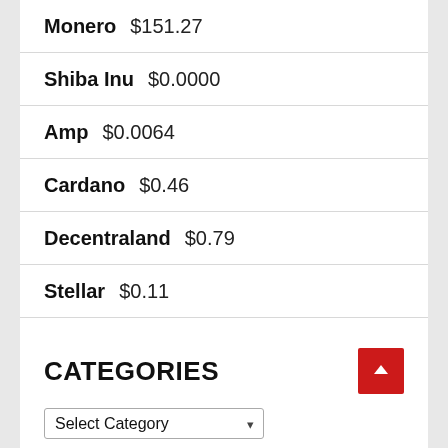Monero $151.27
Shiba Inu $0.0000
Amp $0.0064
Cardano $0.46
Decentraland $0.79
Stellar $0.11
Dogecoin $0.06
CATEGORIES
Select Category